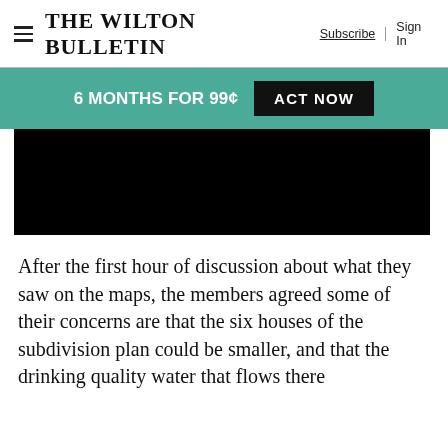THE WILTON BULLETIN | Subscribe | Sign In
6 MONTHS FOR 99¢  ACT NOW
[Figure (photo): Dark/black image, likely a photo related to the article]
After the first hour of discussion about what they saw on the maps, the members agreed some of their concerns are that the six houses of the subdivision plan could be smaller, and that the drinking quality water that flows there should be...